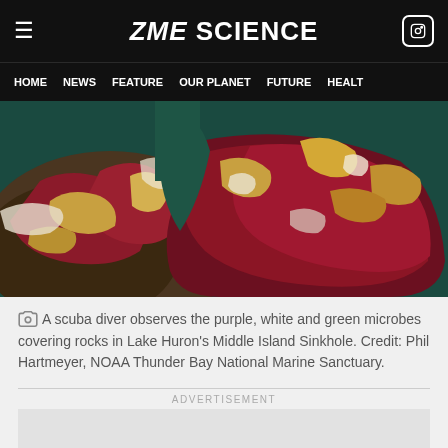ZME SCIENCE
HOME  NEWS  FEATURE  OUR PLANET  FUTURE  HEALT
[Figure (photo): Aerial or underwater close-up view of purple, white and green microbes covering rocks, likely in Lake Huron's Middle Island Sinkhole. Colors include deep crimson/purple, gold, white and teal water.]
A scuba diver observes the purple, white and green microbes covering rocks in Lake Huron's Middle Island Sinkhole. Credit: Phil Hartmeyer, NOAA Thunder Bay National Marine Sanctuary.
ADVERTISEMENT